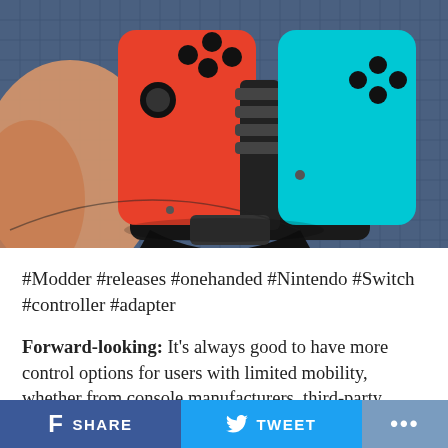[Figure (photo): A hand holding a custom 3D-printed one-handed Nintendo Switch Joy-Con controller adapter. The adapter holds a red (left) and teal/cyan (right) Joy-Con together on a cutting mat background.]
#Modder #releases #onehanded #Nintendo #Switch #controller #adapter
Forward-looking: It's always good to have more control options for users with limited mobility, whether from console manufacturers, third-party companies, or